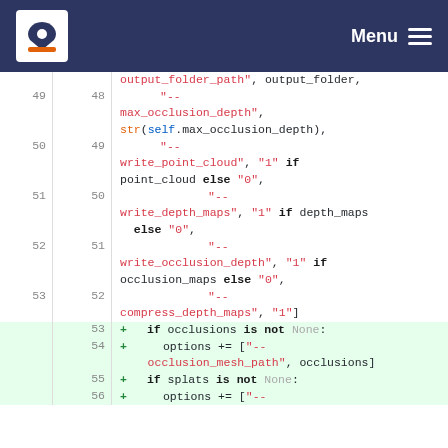Menu
Code diff showing Python source lines 49-56 with added lines for occlusion/splat handling
| left# | right# | + | code |
| --- | --- | --- | --- |
|  |  |  | output_folder_path", output_folder, |
| 49 | 48 |  | "-- |
|  |  |  | max_occlusion_depth", |
|  |  |  | str(self.max_occlusion_depth), |
| 50 | 49 |  | "-- |
|  |  |  | write_point_cloud", "1" if |
|  |  |  | point_cloud else "0", |
| 51 | 50 |  | "-- |
|  |  |  | write_depth_maps", "1" if depth_maps |
|  |  |  | else "0", |
| 52 | 51 |  | "-- |
|  |  |  | write_occlusion_depth", "1" if |
|  |  |  | occlusion_maps else "0", |
| 53 | 52 |  | "-- |
|  |  |  | compress_depth_maps", "1"] |
|  | 53 | + | if occlusions is not None: |
|  | 54 | + | options += ["--occlusion_mesh_path", occlusions] |
|  | 55 | + | if splats is not None: |
|  | 56 | + | options += ["-- |